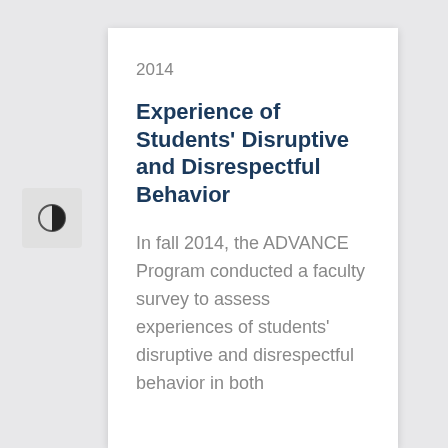2014
Experience of Students' Disruptive and Disrespectful Behavior
In fall 2014, the ADVANCE Program conducted a faculty survey to assess experiences of students' disruptive and disrespectful behavior in both